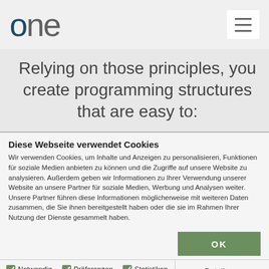one
Relying on those principles, you create programming structures that are easy to:
Diese Webseite verwendet Cookies
Wir verwenden Cookies, um Inhalte und Anzeigen zu personalisieren, Funktionen für soziale Medien anbieten zu können und die Zugriffe auf unsere Website zu analysieren. Außerdem geben wir Informationen zu Ihrer Verwendung unserer Website an unsere Partner für soziale Medien, Werbung und Analysen weiter. Unsere Partner führen diese Informationen möglicherweise mit weiteren Daten zusammen, die Sie ihnen bereitgestellt haben oder die sie im Rahmen Ihrer Nutzung der Dienste gesammelt haben.
Notwendig
Präferenzen
Statistiken
Marketing